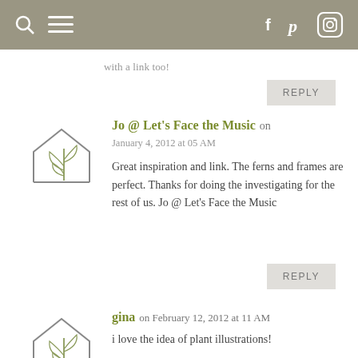Navigation bar with search, menu, Facebook, Pinterest, Instagram icons
with a link too!
REPLY
Jo @ Let's Face the Music on January 4, 2012 at 05 AM
Great inspiration and link. The ferns and frames are perfect. Thanks for doing the investigating for the rest of us. Jo @ Let's Face the Music
REPLY
gina on February 12, 2012 at 11 AM
i love the idea of plant illustrations!